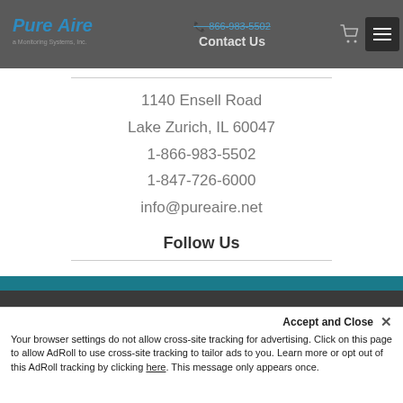PureAire Monitoring Systems, Inc. | Contact Us | 1-866-983-5502
1140 Ensell Road
Lake Zurich, IL 60047
1-866-983-5502
1-847-726-6000
info@pureaire.net
Follow Us
[Figure (logo): Social media icons: YouTube (red circle), LinkedIn (blue circle), Facebook (dark blue circle)]
Copyright 2022 · All rights Reserved.
Accept and Close ×
Your browser settings do not allow cross-site tracking for advertising. Click on this page to allow AdRoll to use cross-site tracking to tailor ads to you. Learn more or opt out of this AdRoll tracking by clicking here. This message only appears once.